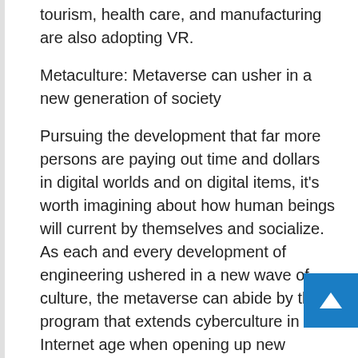tourism, health care, and manufacturing are also adopting VR.
Metaculture: Metaverse can usher in a new generation of society
Pursuing the development that far more persons are paying out time and dollars in digital worlds and on digital items, it’s worth imagining about how human beings will current by themselves and socialize. As each and every development of engineering ushered in a new wave of culture, the metaverse can abide by the program that extends cyberculture in the Internet age when opening up new paradigms in interaction and amusement.
1 clear adjust of culture now can be that folks shelling out thousands or even tens of millions dollars on NFTs, the scale and selection of